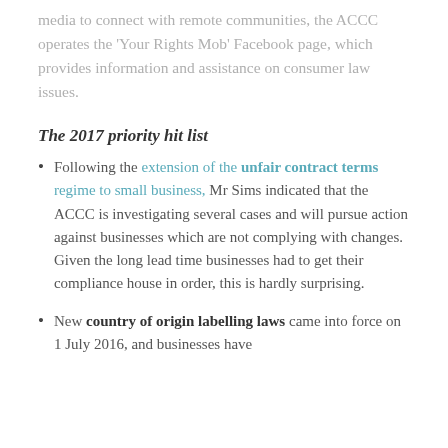media to connect with remote communities, the ACCC operates the 'Your Rights Mob' Facebook page, which provides information and assistance on consumer law issues.
The 2017 priority hit list
Following the extension of the unfair contract terms regime to small business, Mr Sims indicated that the ACCC is investigating several cases and will pursue action against businesses which are not complying with changes. Given the long lead time businesses had to get their compliance house in order, this is hardly surprising.
New country of origin labelling laws came into force on 1 July 2016, and businesses have